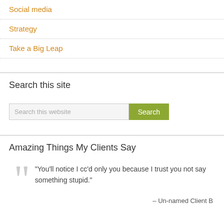Social media
Strategy
Take a Big Leap
Search this site
Search this website [Search button]
Amazing Things My Clients Say
“You’ll notice I cc’d only you because I trust you not say something stupid.”
– Un-named Client B